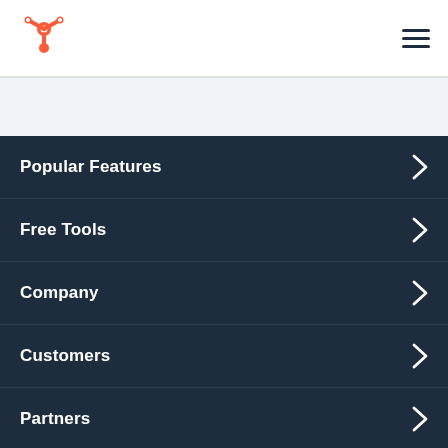[Figure (logo): HubSpot orange sprocket logo in top left header]
[Figure (other): Hamburger menu icon (three horizontal lines) in top right header]
Popular Features
Free Tools
Company
Customers
Partners
[Figure (other): Social media icons row: Facebook, Instagram, YouTube, Twitter, LinkedIn, TikTok variant, TikTok]